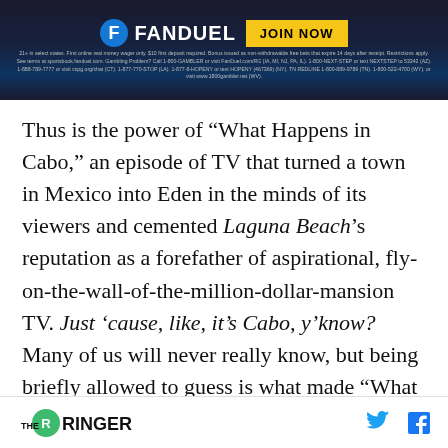[Figure (other): FanDuel advertisement banner with logo and JOIN NOW button, plus fine print about gambling restrictions]
Thus is the power of “What Happens in Cabo,” an episode of TV that turned a town in Mexico into Eden in the minds of its viewers and cemented Laguna Beach’s reputation as a forefather of aspirational, fly-on-the-wall-of-the-million-dollar-mansion TV. Just ’cause, like, it’s Cabo, y’know? Many of us will never really know, but being briefly allowed to guess is what made “What Happens in Cabo” feel so important in 2004.
THE RINGER